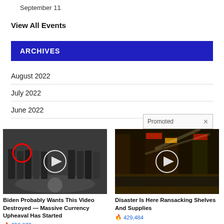September 11
View All Events
ARCHIVES
August 2022
July 2022
June 2022
[Figure (screenshot): Promoted advertisement banner with X close button]
[Figure (photo): Ad: Biden Probably Wants This Video Destroyed — Massive Currency Upheaval Has Started. Views: 259,972]
[Figure (photo): Ad: Disaster Is Here Ransacking Shelves And Supplies. Views: 429,484]